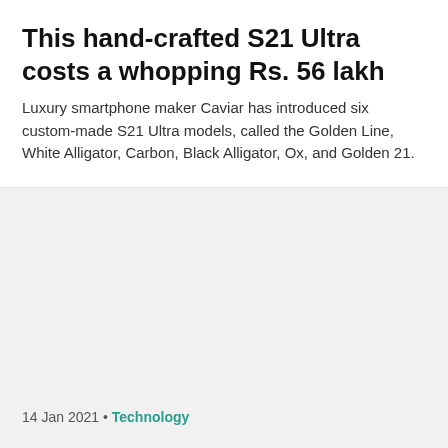This hand-crafted S21 Ultra costs a whopping Rs. 56 lakh
Luxury smartphone maker Caviar has introduced six custom-made S21 Ultra models, called the Golden Line, White Alligator, Carbon, Black Alligator, Ox, and Golden 21.
14 Jan 2021 • Technology